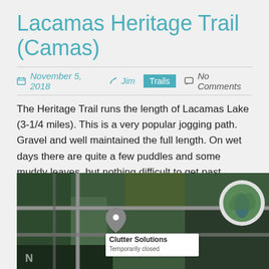Lacamas Heritage Trail (Camas)
November 5, 2018  Jim  Trails  No Comments
The Heritage Trail runs the length of Lacamas Lake (3-1/4 miles).  This is a very popular jogging path.  Gravel and well maintained the full length.  On wet days there are quite a few puddles and some muddy leaves, but nothing difficult to get past.
The parking lot at the north end often fills up, with some people resorting to parking along the curb and on the passing road.
[Figure (map): Google Maps satellite view showing the area near Lacamas Lake with a marker for 'Clutter Solutions - Temporarily closed'. A circular thumbnail photo shows a green waterway. A compass 'N' marker is visible at the bottom left.]